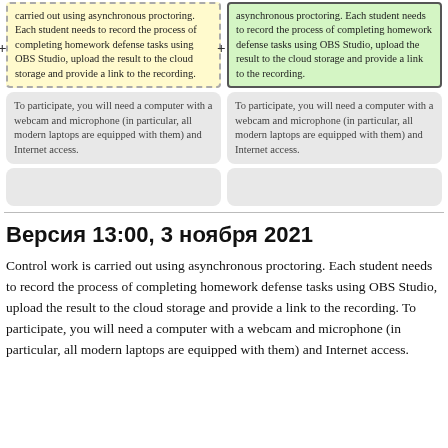carried out using asynchronous proctoring. Each student needs to record the process of completing homework defense tasks using OBS Studio, upload the result to the cloud storage and provide a link to the recording.
asynchronous proctoring. Each student needs to record the process of completing homework defense tasks using OBS Studio, upload the result to the cloud storage and provide a link to the recording.
To participate, you will need a computer with a webcam and microphone (in particular, all modern laptops are equipped with them) and Internet access.
To participate, you will need a computer with a webcam and microphone (in particular, all modern laptops are equipped with them) and Internet access.
Версия 13:00, 3 ноября 2021
Control work is carried out using asynchronous proctoring. Each student needs to record the process of completing homework defense tasks using OBS Studio, upload the result to the cloud storage and provide a link to the recording. To participate, you will need a computer with a webcam and microphone (in particular, all modern laptops are equipped with them) and Internet access.